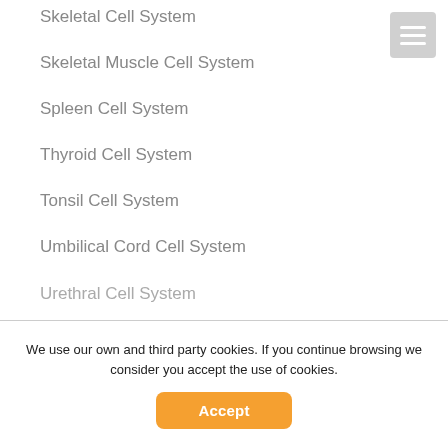Skeletal Cell System
Skeletal Muscle Cell System
Spleen Cell System
Thyroid Cell System
Tonsil Cell System
Umbilical Cord Cell System
Urethral Cell System
We use our own and third party cookies. If you continue browsing we consider you accept the use of cookies.